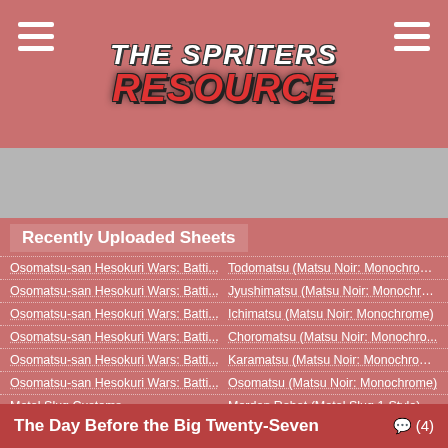The Spriters Resource
[Figure (logo): The Spriters Resource logo with stylized text on pink/red pixelated background]
Recently Uploaded Sheets
Osomatsu-san Hesokuri Wars: Batti... | Todomatsu (Matsu Noir: Monochrome)
Osomatsu-san Hesokuri Wars: Batti... | Jyushimatsu (Matsu Noir: Monochro...
Osomatsu-san Hesokuri Wars: Batti... | Ichimatsu (Matsu Noir: Monochrome)
Osomatsu-san Hesokuri Wars: Batti... | Choromatsu (Matsu Noir: Monochro...
Osomatsu-san Hesokuri Wars: Batti... | Karamatsu (Matsu Noir: Monochrome)
Osomatsu-san Hesokuri Wars: Batti... | Osomatsu (Matsu Noir: Monochrome)
Metal Slug Customs | Morden Robot (Metal Slug 1-Style)
Mega Man Customs | Ice Man's Stage (Dr. Wily's Revenge...
Latest Submissions: @tSRUpdates on Twitter | RSS Feed
The Day Before the Big Twenty-Seven ... (4)